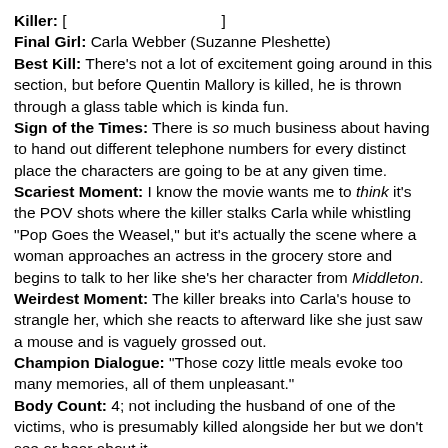Killer: [                              ]
Final Girl: Carla Webber (Suzanne Pleshette)
Best Kill: There's not a lot of excitement going around in this section, but before Quentin Mallory is killed, he is thrown through a glass table which is kinda fun.
Sign of the Times: There is so much business about having to hand out different telephone numbers for every distinct place the characters are going to be at any given time.
Scariest Moment: I know the movie wants me to think it's the POV shots where the killer stalks Carla while whistling "Pop Goes the Weasel," but it's actually the scene where a woman approaches an actress in the grocery store and begins to talk to her like she's her character from Middleton.
Weirdest Moment: The killer breaks into Carla's house to strangle her, which she reacts to afterward like she just saw a mouse and is vaguely grossed out.
Champion Dialogue: "Those cozy little meals evoke too many memories, all of them unpleasant."
Body Count: 4; not including the husband of one of the victims, who is presumably killed alongside her but we don't see or hear about it.